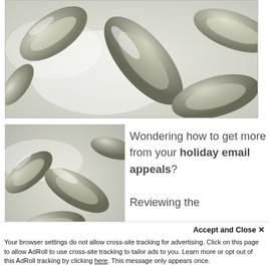[Figure (photo): Close-up photograph of metallic chain links, silvery/olive color, blurred background, cropped rectangular view.]
[Figure (photo): Close-up photograph of metallic chain links, similar to top image, smaller and positioned left side.]
Wondering how to get more from your holiday email appeals?

Reviewing the
Accept and Close ✕
Your browser settings do not allow cross-site tracking for advertising. Click on this page to allow AdRoll to use cross-site tracking to tailor ads to you. Learn more or opt out of this AdRoll tracking by clicking here. This message only appears once.